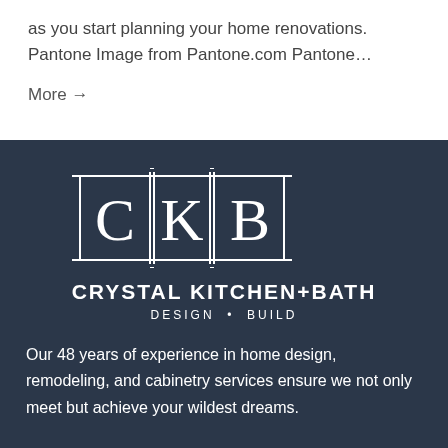as you start planning your home renovations. Pantone Image from Pantone.com Pantone…
More →
[Figure (logo): Crystal Kitchen+Bath CKB logo — white geometric letter marks C, K, B inside a rectangular grid/frame on dark navy background, with text CRYSTAL KITCHEN+BATH DESIGN • BUILD below]
Our 48 years of experience in home design, remodeling, and cabinetry services ensure we not only meet but achieve your wildest dreams.